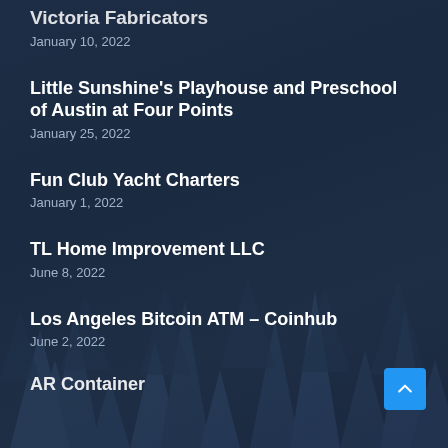Victoria Fabricators
January 10, 2022
Little Sunshine's Playhouse and Preschool of Austin at Four Points
January 25, 2022
Fun Club Yacht Charters
January 1, 2022
TL Home Improvement LLC
June 8, 2022
Los Angeles Bitcoin ATM – Coinhub
June 2, 2022
AR Container (partial)